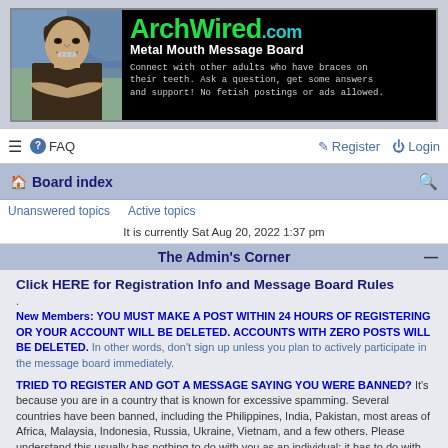[Figure (screenshot): ArchWired.com Metal Mouth Message Board banner with Mona Lisa graphic on left and site title/description on right]
≡  ? FAQ    ✎ Register  ⏻ Login
🏠 Board index 🔍
Unanswered topics   Active topics
It is currently Sat Aug 20, 2022 1:37 pm
The Admin's Corner —
Click HERE for Registration Info and Message Board Rules
.
New Members: YOU MUST MAKE A POST WITHIN 24 HOURS OF REGISTERING OR YOUR ACCOUNT WILL BE DELETED. ACCOUNTS WITH ZERO POSTS WILL BE DELETED. In other words, don't sign up unless you plan to actively participate in the message board immediately.

TRIED TO REGISTER AND GOT A MESSAGE SAYING YOU WERE BANNED? It's because you are in a country that is known for excessive spamming. Several countries have been banned, including the Philippines, India, Pakistan, most areas of Africa, Malaysia, Indonesia, Russia, Ukraine, Vietnam, and a few others. Please understand this usually has nothing to do with you as an individual; it has to do with excessive spamming coming from the country that you are in. If you are (or want to be) a legitimate member of